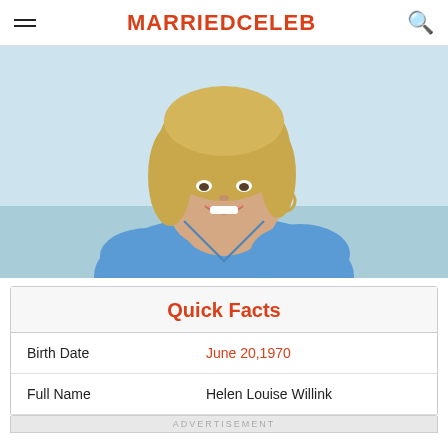MARRIEDCELEB
[Figure (photo): A smiling blonde woman wearing a blue ruffle-sleeve top, photographed outdoors with a light blue sky and water background.]
| Quick Facts |  |
| --- | --- |
| Birth Date | June 20,1970 |
| Full Name | Helen Louise Willink |